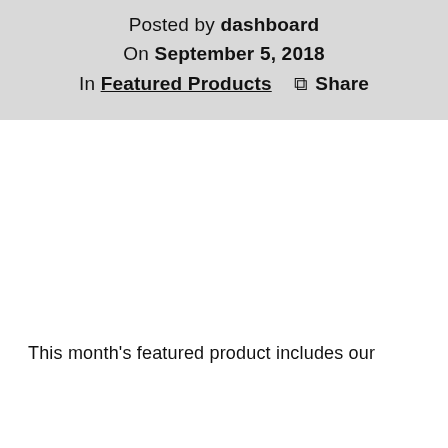Posted by dashboard
On September 5, 2018
In Featured Products    ⫘ Share
This month's featured product includes our